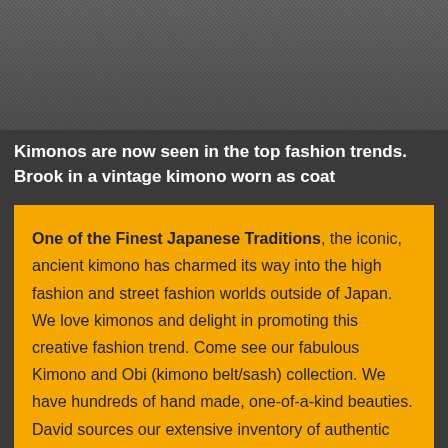[Figure (photo): Photograph of a person wearing a vintage kimono, showing textured fabric detail in dark gray tones]
Kimonos are now seen in the top fashion trends.
Brook in a vintage kimono worn as coat
One of the Finest Japanese Traditions, the iconic, ancient kimono has charmed its way into the high fashion and street fashion worlds outside of Japan. We love kimonos and delight in promoting this creative fashion trend. Come see our fabulous Kimono and Obi (kimono belt/sash) collection. We have hundreds of hand made, one-of-a-kind beauties.
David sources our extensive inventory of authentic vintage kimonos in Kyoto, a city once renowned for its kimono makers.